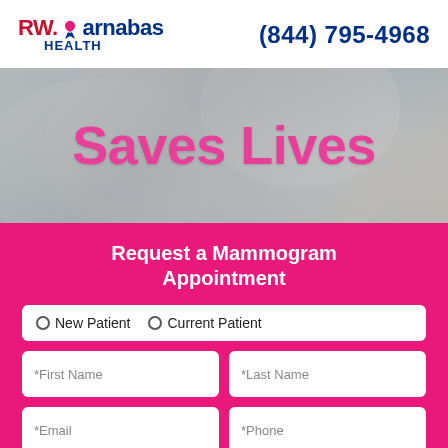RW. Barnabas HEALTH   (844) 795-4968
[Figure (photo): Background photo of a person, partially visible, with large pink text overlay reading 'Saves Lives']
Request a Mammogram Appointment
○ New Patient  ○ Current Patient
*First Name
*Last Name
*Email
*Phone